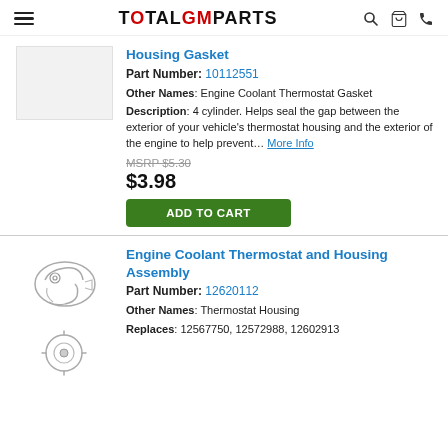TOTALGMPARTS (navigation header with menu, search, cart, phone icons)
Housing Gasket
Part Number: 10112551
Other Names: Engine Coolant Thermostat Gasket
Description: 4 cylinder. Helps seal the gap between the exterior of your vehicle's thermostat housing and the exterior of the engine to help prevent... More Info
MSRP $5.30
$3.98
ADD TO CART
Engine Coolant Thermostat and Housing Assembly
Part Number: 12620112
Other Names: Thermostat Housing
Replaces: 12567750, 12572988, 12602913